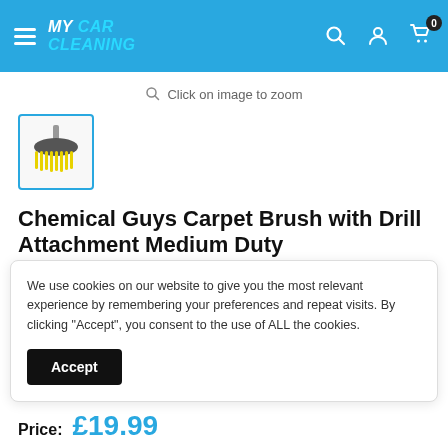My Car Cleaning — navigation header
Click on image to zoom
[Figure (photo): Thumbnail of Chemical Guys Carpet Brush with Drill Attachment Medium Duty — a circular brush with yellow bristles and a metal shaft]
Chemical Guys Carpet Brush with Drill Attachment Medium Duty
We use cookies on our website to give you the most relevant experience by remembering your preferences and repeat visits. By clicking "Accept", you consent to the use of ALL the cookies.
Accept
Price: £19.99